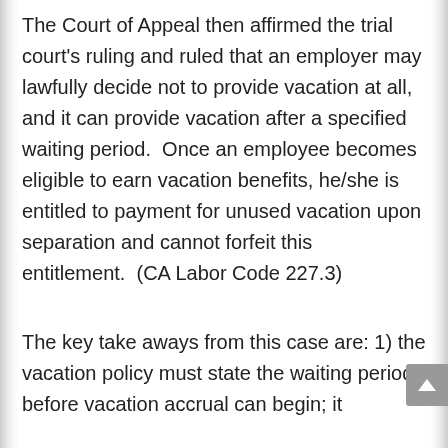The Court of Appeal then affirmed the trial court's ruling and ruled that an employer may lawfully decide not to provide vacation at all, and it can provide vacation after a specified waiting period.  Once an employee becomes eligible to earn vacation benefits, he/she is entitled to payment for unused vacation upon separation and cannot forfeit this entitlement.  (CA Labor Code 227.3)
The key take aways from this case are: 1) the vacation policy must state the waiting period before vacation accrual can begin; it